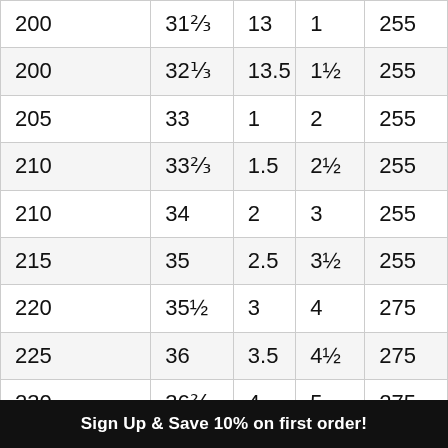| 200 | 31⅔ | 13 | 1 | 255 |
| 200 | 32⅓ | 13.5 | 1½ | 255 |
| 205 | 33 | 1 | 2 | 255 |
| 210 | 33⅔ | 1.5 | 2½ | 255 |
| 210 | 34 | 2 | 3 | 255 |
| 215 | 35 | 2.5 | 3½ | 255 |
| 220 | 35½ | 3 | 4 | 275 |
| 225 | 36 | 3.5 | 4½ | 275 |
| 230 | 36⅔ | 4 | 5 | 275 |
| 235 | 37½ | 4.5 | 5½ | 275 |
Sign Up & Save 10% on first order!